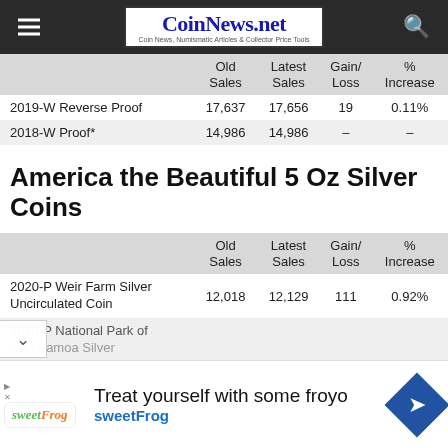CoinNews.net — Coin News, Numismatic Articles & Collector Price Tools
|  | Old Sales | Latest Sales | Gain/Loss | % Increase |
| --- | --- | --- | --- | --- |
| 2019-W Reverse Proof | 17,637 | 17,656 | 19 | 0.11% |
| 2018-W Proof* | 14,986 | 14,986 | – | – |
America the Beautiful 5 Oz Silver Coins
|  | Old Sales | Latest Sales | Gain/Loss | % Increase |
| --- | --- | --- | --- | --- |
| 2020-P Weir Farm Silver Uncirculated Coin | 12,018 | 12,129 | 111 | 0.92% |
| 2020-P National Park of American Samoa Silver... |  |  |  |  |